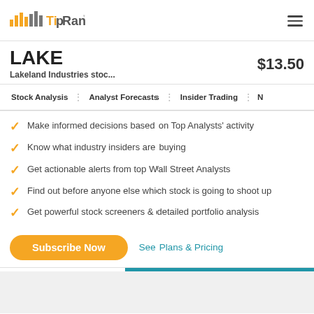[Figure (logo): TipRanks logo with orange bar chart icon and gray text]
LAKE
Lakeland Industries stoc...
$13.50
Stock Analysis | Analyst Forecasts | Insider Trading | N
Make informed decisions based on Top Analysts' activity
Know what industry insiders are buying
Get actionable alerts from top Wall Street Analysts
Find out before anyone else which stock is going to shoot up
Get powerful stock screeners & detailed portfolio analysis
Subscribe Now
See Plans & Pricing